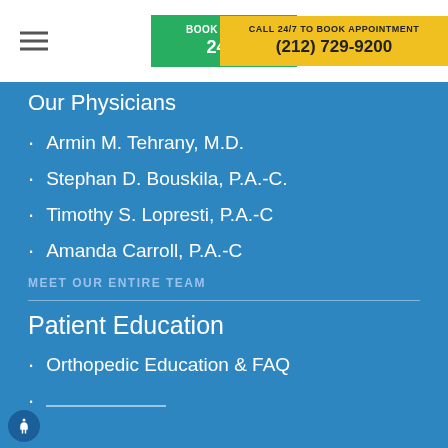BOOK ONLINE 24/7 | CALL 24/7 TO BOOK APPOINTMENT (212) 729-9200
Our Physicians
Armin M. Tehrany, M.D.
Stephan D. Bouskila, P.A.-C.
Timothy S. Lopresti, P.A.-C
Amanda Carroll, P.A.-C
MEET OUR ENTIRE TEAM
Patient Education
Orthopedic Education & FAQ